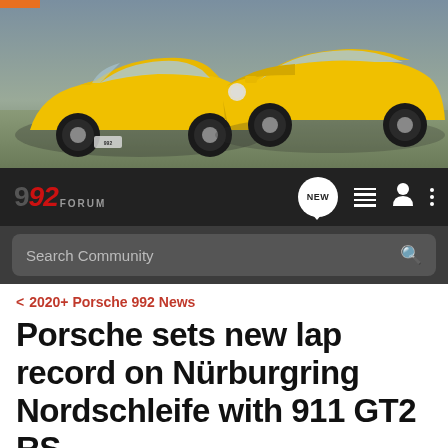[Figure (photo): Two yellow Porsche 911 (992) sports cars shown side by side, one from rear-quarter and one from front-quarter angle, against a natural outdoor background]
992 FORUM
Search Community
< 2020+ Porsche 992 News
Porsche sets new lap record on Nürburgring Nordschleife with 911 GT2 RS
→ Jump to Latest
+ Follow